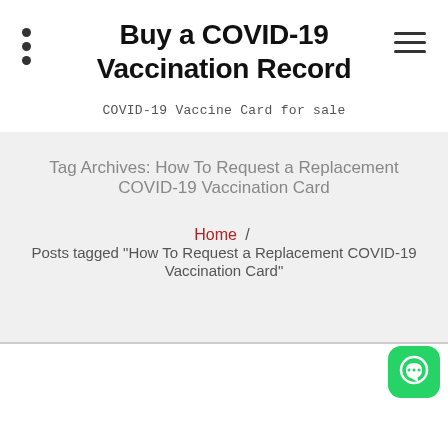Buy a COVID-19 Vaccination Record
COVID-19 Vaccine Card for sale
Tag Archives: How To Request a Replacement COVID-19 Vaccination Card
Home / Posts tagged "How To Request a Replacement COVID-19 Vaccination Card"
[Figure (logo): WhatsApp chat button icon, green rounded square with white phone/speech bubble icon]